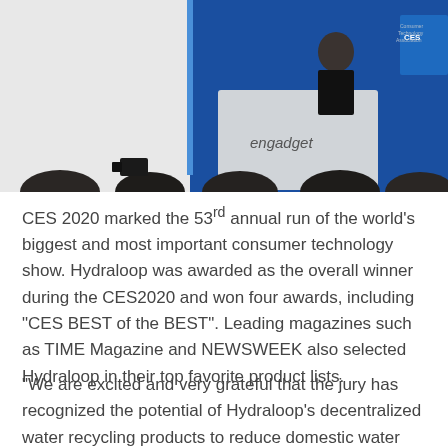[Figure (photo): Photo of a CES 2020 event stage showing a woman presenter at an Engadget-branded podium, with a blue CES backdrop and large screens behind her, and an audience in the foreground.]
CES 2020 marked the 53rd annual run of the world's biggest and most important consumer technology show. Hydraloop was awarded as the overall winner during the CES2020 and won four awards, including "CES BEST of the BEST". Leading magazines such as TIME Magazine and NEWSWEEK also selected Hydraloop in their top favorite product lists.
"We are excited and very grateful that the jury has recognized the potential of Hydraloop's decentralized water recycling products to reduce domestic water